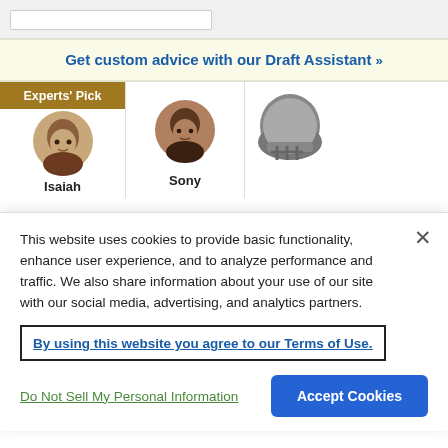Get custom advice with our Draft Assistant »
[Figure (illustration): Experts' Pick badge with two player headshots (Isaiah and Sony) and a third partially visible player with helmet]
This website uses cookies to provide basic functionality, enhance user experience, and to analyze performance and traffic. We also share information about your use of our site with our social media, advertising, and analytics partners.
By using this website you agree to our Terms of Use.
Do Not Sell My Personal Information
Accept Cookies